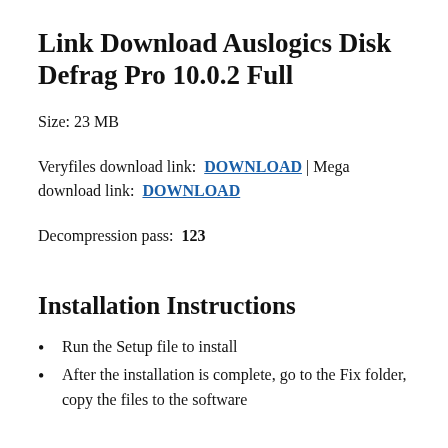Link Download Auslogics Disk Defrag Pro 10.0.2 Full
Size: 23 MB
Veryfiles download link: DOWNLOAD | Mega download link: DOWNLOAD
Decompression pass: 123
Installation Instructions
Run the Setup file to install
After the installation is complete, go to the Fix folder, copy the files to the software